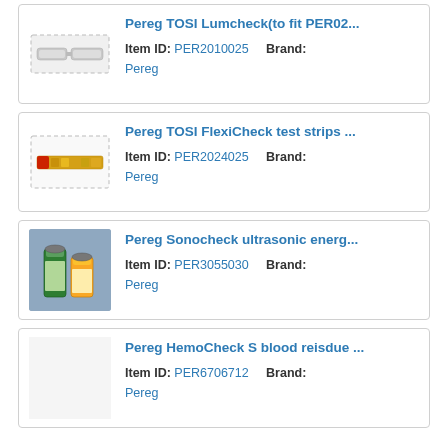[Figure (photo): Pereg TOSI Lumcheck product image - small cylindrical device]
Pereg TOSI Lumcheck(to fit PER02...
Item ID: PER2010025   Brand: Pereg
[Figure (photo): Pereg TOSI FlexiCheck test strips - yellow/gold strip on white]
Pereg TOSI FlexiCheck test strips ...
Item ID: PER2024025   Brand: Pereg
[Figure (photo): Pereg Sonocheck ultrasonic energy - two small green/yellow liquid vials on blue-grey background]
Pereg Sonocheck ultrasonic energ...
Item ID: PER3055030   Brand: Pereg
[Figure (photo): Pereg HemoCheck S blood residue product - no image shown]
Pereg HemoCheck S blood reisdue ...
Item ID: PER6706712   Brand: Pereg